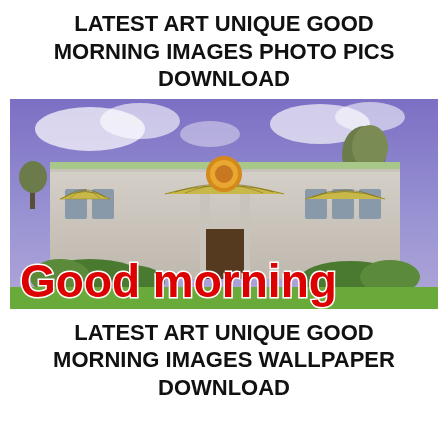LATEST ART UNIQUE GOOD MORNING IMAGES PHOTO PICS DOWNLOAD
[Figure (photo): Photo of a restaurant building with striped awnings and purple/blue sky. Large red bold text reads 'Good morning' overlaid at the bottom of the image.]
LATEST ART UNIQUE GOOD MORNING IMAGES WALLPAPER DOWNLOAD